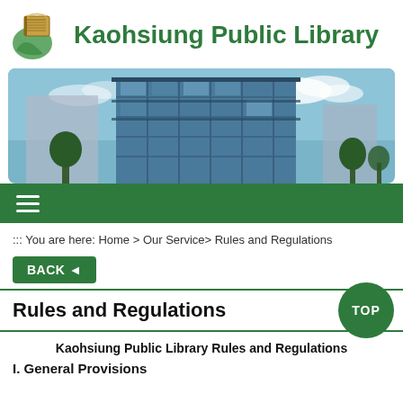Kaohsiung Public Library
[Figure (photo): Exterior photo of a modern glass office/library building against a blue sky with trees]
::: You are here: Home > Our Service> Rules and Regulations
BACK ◄
Rules and Regulations
TOP
Kaohsiung Public Library Rules and Regulations
I. General Provisions